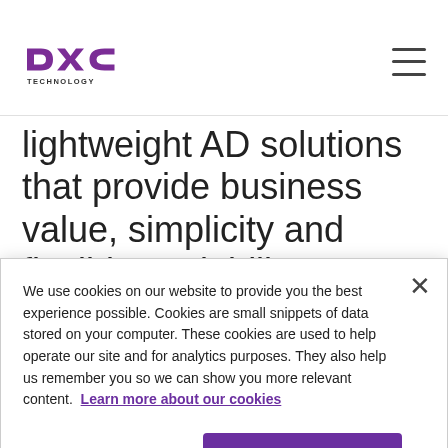DXC Technology
lightweight AD solutions that provide business value, simplicity and flexible scalability as needed.
The solution uses proven AD software
We use cookies on our website to provide you the best experience possible. Cookies are small snippets of data stored on your computer. These cookies are used to help operate our site and for analytics purposes. They also help us remember you so we can show you more relevant content. Learn more about our cookies
Cookies Settings
Accept Cookies